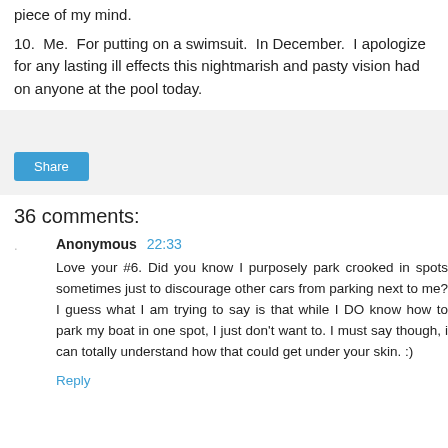piece of my mind.
10.  Me.  For putting on a swimsuit.  In December.  I apologize for any lasting ill effects this nightmarish and pasty vision had on anyone at the pool today.
[Figure (other): Share button area with light gray background]
36 comments:
Anonymous 22:33
Love your #6. Did you know I purposely park crooked in spots sometimes just to discourage other cars from parking next to me? I guess what I am trying to say is that while I DO know how to park my boat in one spot, I just don't want to. I must say though, i can totally understand how that could get under your skin. :)
Reply